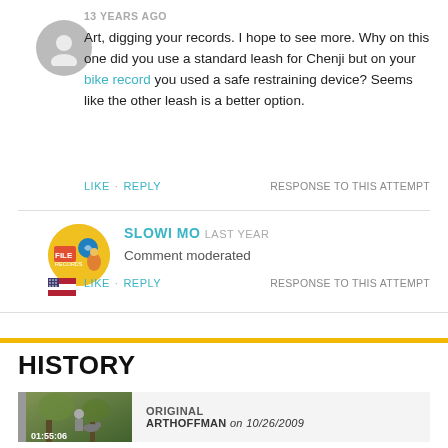13 YEARS AGO
Art, digging your records. I hope to see more. Why on this one did you use a standard leash for Chenji but on your bike record you used a safe restraining device? Seems like the other leash is a better option.
LIKE · REPLY    RESPONSE TO THIS ATTEMPT
SLOWI MO  LAST YEAR
Comment moderated
LIKE · REPLY    RESPONSE TO THIS ATTEMPT
HISTORY
ORIGINAL
ARTHOFFMAN on 10/26/2009